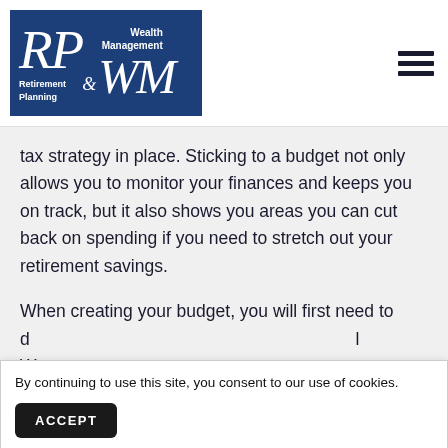[Figure (logo): RP & WM Retirement Planning & Wealth Management logo — dark navy blue rectangle with white italic serif text]
tax strategy in place. Sticking to a budget not only allows you to monitor your finances and keeps you on track, but it also shows you areas you can cut back on spending if you need to stretch out your retirement savings.
When creating your budget, you will first need to d... W... m...ly
By continuing to use this site, you consent to our use of cookies.
ACCEPT